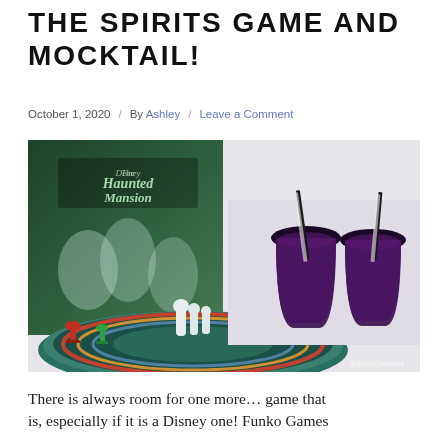THE SPIRITS GAME AND MOCKTAIL!
October 1, 2020 / By Ashley / Leave a Comment
[Figure (photo): Photo of the Disney Haunted Mansion board game by Funko Games, showing colorful game pieces (red, green, yellow, blue figurines), white ghost/spirit figures on a circular game board, the game box in the background, and two dark purple drinks with black and white striped straws. Watermark reads @AshleySaunders.]
There is always room for one more… game that is, especially if it is a Disney one! Funko Games